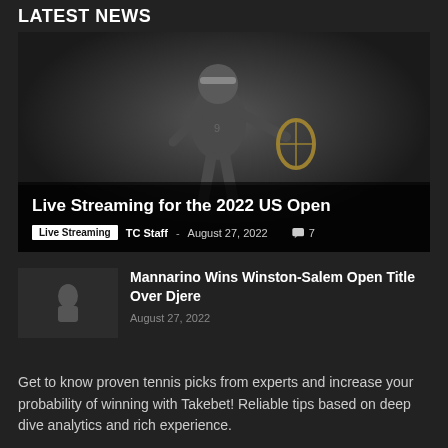LATEST NEWS
[Figure (photo): Tennis player in action wearing white headband and jersey with racket, dark background]
Live Streaming for the 2022 US Open
Live Streaming · TC Staff · August 27, 2022 · 7 comments
Mannarino Wins Winston-Salem Open Title Over Djere
August 27, 2022
Get to know proven tennis picks from experts and increase your probability of winning with Takebet! Reliable tips based on deep dive analytics and rich experience.